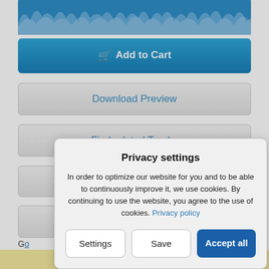[Figure (other): Audio waveform visualization showing blue amplitude pattern]
Add to Cart
Download Preview
Find related Tracks
☆ (star/favorites button)
Login to Create a Playlist
G...
Te... PR... (m...
Privacy settings
In order to optimize our website for you and to be able to continuously improve it, we use cookies. By continuing to use the website, you agree to the use of cookies. Privacy policy
Settings
Save
Accept all